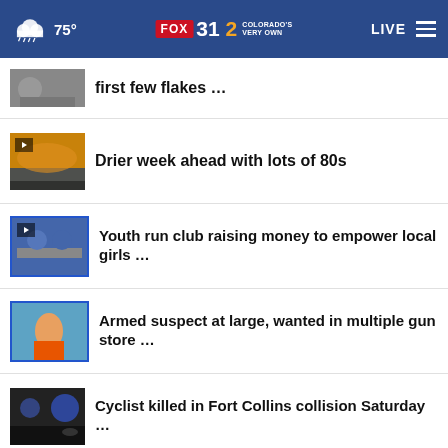75° FOX 31 2 COLORADO'S VERY OWN | LIVE
first few flakes …
Drier week ahead with lots of 80s
Youth run club raising money to empower local girls …
Armed suspect at large, wanted in multiple gun store …
Cyclist killed in Fort Collins collision Saturday …
Vehicle-motorcycle crash lea… 2 …
Ford to appeal $1.7 billion verdict in